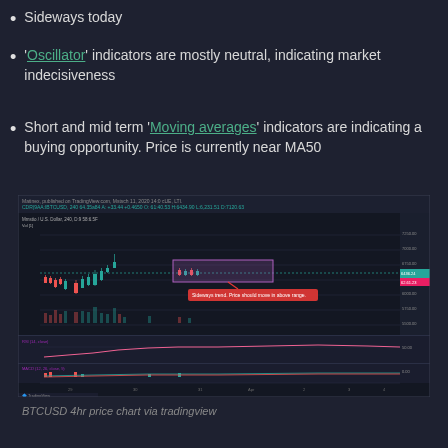Sideways today
'Oscillator' indicators are mostly neutral, indicating market indecisiveness
Short and mid term 'Moving averages' indicators are indicating a buying opportunity. Price is currently near MA50
[Figure (screenshot): BTCUSD 4hr price chart on TradingView showing candlestick chart with volume bars, RSI and MACD indicators, a highlighted rectangular region marking a sideways trend range with annotation 'Sideways trend. Price should move in above range.', price level around 6436 USDT]
BTCUSD 4hr price chart via tradingview